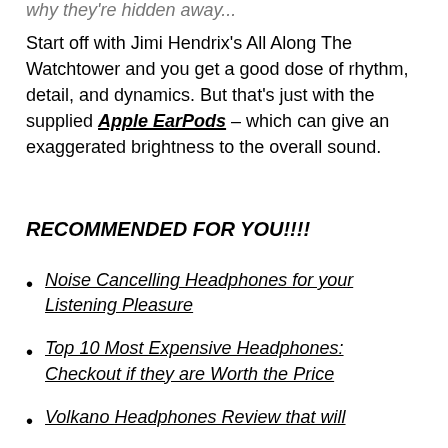why they're hidden away...
Start off with Jimi Hendrix's All Along The Watchtower and you get a good dose of rhythm, detail, and dynamics. But that's just with the supplied Apple EarPods – which can give an exaggerated brightness to the overall sound.
RECOMMENDED FOR YOU!!!!
Noise Cancelling Headphones for your Listening Pleasure
Top 10 Most Expensive Headphones: Checkout if they are Worth the Price
Volkano Headphones Review that will